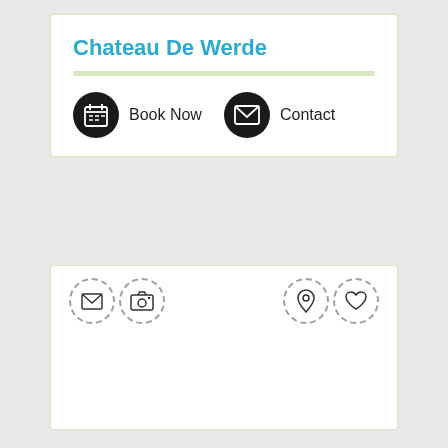Chateau De Werde
Book Now
Contact
[Figure (screenshot): Bottom card with dashed-circle icons: envelope, camera, location pin, heart]